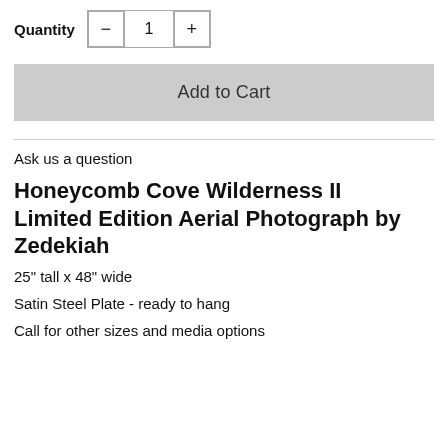Quantity - 1 +
Add to Cart
Ask us a question
Honeycomb Cove Wilderness II Limited Edition Aerial Photograph by Zedekiah
25" tall x 48" wide
Satin Steel Plate - ready to hang
Call for other sizes and media options